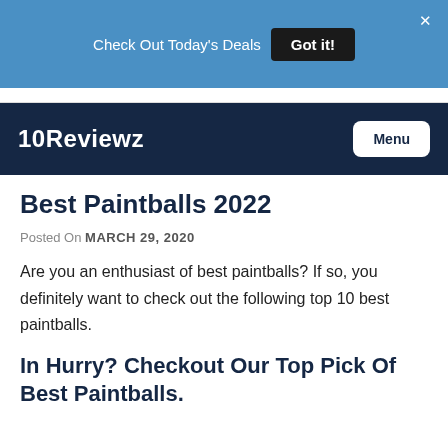Check Out Today's Deals  Got it!
10Reviewz  Menu
Best Paintballs 2022
Posted On MARCH 29, 2020
Are you an enthusiast of best paintballs? If so, you definitely want to check out the following top 10 best paintballs.
In Hurry? Checkout Our Top Pick Of Best Paintballs.